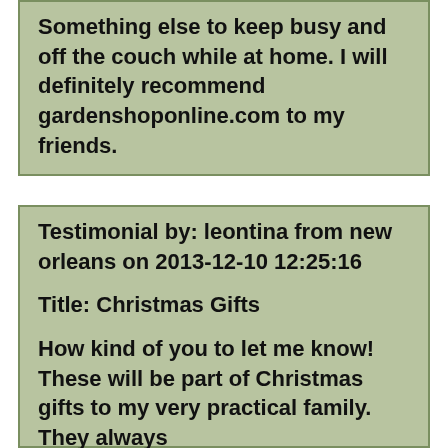Something else to keep busy and off the couch while at home. I will definitely recommend gardenshoponline.com to my friends.
Testimonial by: leontina from new orleans on 2013-12-10 12:25:16

Title: Christmas Gifts

How kind of you to let me know! These will be part of Christmas gifts to my very practical family. They always